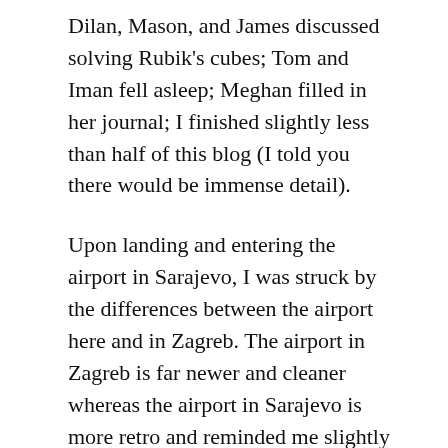Dilan, Mason, and James discussed solving Rubik's cubes; Tom and Iman fell asleep; Meghan filled in her journal; I finished slightly less than half of this blog (I told you there would be immense detail).
Upon landing and entering the airport in Sarajevo, I was struck by the differences between the airport here and in Zagreb. The airport in Zagreb is far newer and cleaner whereas the airport in Sarajevo is more retro and reminded me slightly of the airport in Casablanca, Morocco.
Driving to the hotel, I was mainly writing this blog, but I did manage to look out the window for a few minutes. Sarajevo reminds me tremendously of a European version of Morocco and hopefully, I'll be proven right tomorrow.
Checking into the hotel, most of the group seemed